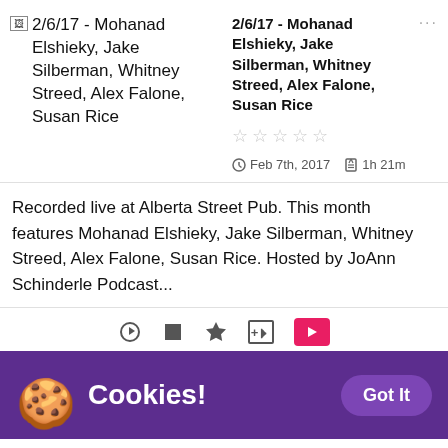[Figure (screenshot): Thumbnail placeholder with broken image icon and title text: 2/6/17 - Mohanad Elshieky, Jake Silberman, Whitney Streed, Alex Falone, Susan Rice]
2/6/17 - Mohanad Elshieky, Jake Silberman, Whitney Streed, Alex Falone, Susan Rice
Feb 7th, 2017   1h 21m
Recorded live at Alberta Street Pub. This month features Mohanad Elshieky, Jake Silberman, Whitney Streed, Alex Falone, Susan Rice. Hosted by JoAnn Schinderle Podcast...
[Figure (screenshot): Cookie consent banner with purple background, cookie emoji, 'Cookies!' text and 'Got It' button]
We use cookies to provide and improve our services. By using our site, you consent to cookies. Learn more